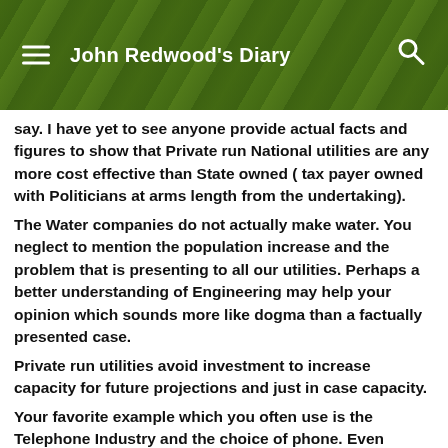John Redwood's Diary
say. I have yet to see anyone provide actual facts and figures to show that Private run National utilities are any more cost effective than State owned ( tax payer owned with Politicians at arms length from the undertaking).
The Water companies do not actually make water. You neglect to mention the population increase and the problem that is presenting to all our utilities. Perhaps a better understanding of Engineering may help your opinion which sounds more like dogma than a factually presented case.
Private run utilities avoid investment to increase capacity for future projections and just in case capacity.
Your favorite example which you often use is the Telephone Industry and the choice of phone. Even before Mrs T. The system was being modernized at a great pace but all this behind the scenes of you can only attach this phone to the